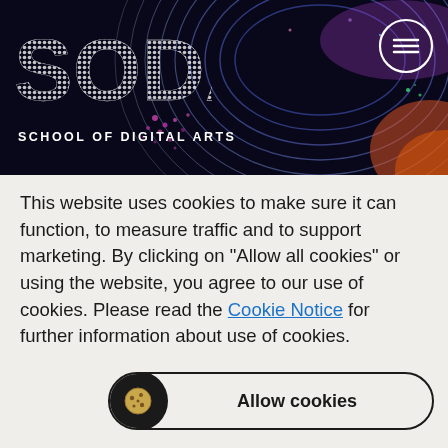[Figure (screenshot): SODA School of Digital Arts website header banner with dark background, colorful abstract digital art (swirls, neon colors), SODA logo in dotted/outlined letters, and hamburger menu icon in circle]
This website uses cookies to make sure it can function, to measure traffic and to support marketing. By clicking on "Allow all cookies" or using the website, you agree to our use of cookies. Please read the Cookie Notice for further information about use of cookies.
[Figure (other): Allow cookies button with black circle cookie icon on left and 'Allow cookies' text, pill-shaped button with dark border]